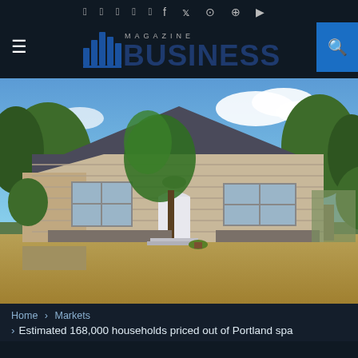f  twitter  instagram  pinterest  youtube
[Figure (logo): Magazine Business logo with city skyline icon, hamburger menu, and search button]
[Figure (photo): Exterior photo of a single-story residential home with light tan siding, green lawn turned brown/dry, trees, and blue sky with clouds]
Home > Markets
> Estimated 168,000 households priced out of Portland spa